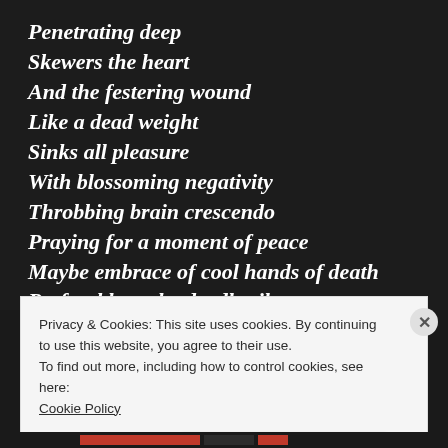Penetrating deep
Skewers the heart
And the festering wound
Like a dead weight
Sinks all pleasure
With blossoming negativity
Throbbing brain crescendo
Praying for a moment of peace
Maybe embrace of cool hands of death
Preferable to the deadly silence
Privacy & Cookies: This site uses cookies. By continuing to use this website, you agree to their use.
To find out more, including how to control cookies, see here:
Cookie Policy
Close and accept